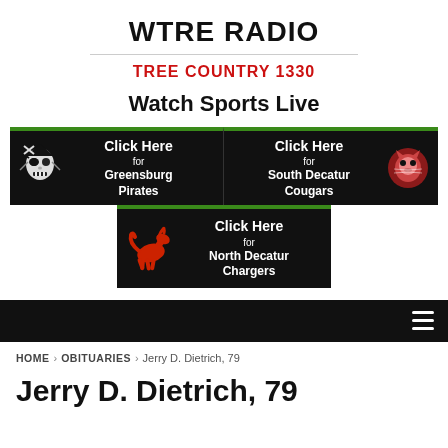WTRE RADIO
TREE COUNTRY 1330
Watch Sports Live
[Figure (infographic): Three sports team buttons on black background with green top border: Click Here for Greensburg Pirates (pirate mascot), Click Here for South Decatur Cougars (cougar mascot), Click Here for North Decatur Chargers (red horse mascot)]
Navigation bar with hamburger menu icon
HOME > OBITUARIES > Jerry D. Dietrich, 79
Jerry D. Dietrich, 79